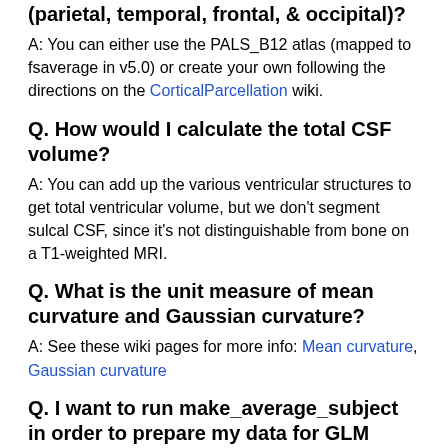(parietal, temporal, frontal, & occipital)?
A: You can either use the PALS_B12 atlas (mapped to fsaverage in v5.0) or create your own following the directions on the CorticalParcellation wiki.
Q. How would I calculate the total CSF volume?
A: You can add up the various ventricular structures to get total ventricular volume, but we don't segment sulcal CSF, since it's not distinguishable from bone on a T1-weighted MRI.
Q. What is the unit measure of mean curvature and Gaussian curvature?
A: See these wiki pages for more info: Mean curvature, Gaussian curvature
Q. I want to run make_average_subject in order to prepare my data for GLM analysis, which file should I specify for the -xform flag,